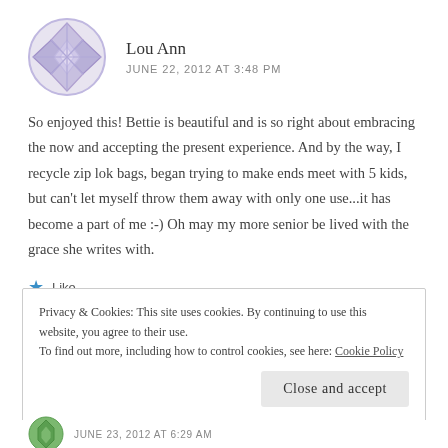[Figure (illustration): Circular avatar with lavender geometric diamond/lattice pattern on white background]
Lou Ann
JUNE 22, 2012 AT 3:48 PM
So enjoyed this! Bettie is beautiful and is so right about embracing the now and accepting the present experience. And by the way, I recycle zip lok bags, began trying to make ends meet with 5 kids, but can’t let myself throw them away with only one use...it has become a part of me :-) Oh may my more senior be lived with the grace she writes with.
★ Like
Privacy & Cookies: This site uses cookies. By continuing to use this website, you agree to their use.
To find out more, including how to control cookies, see here: Cookie Policy
Close and accept
JUNE 23, 2012 AT 6:29 AM